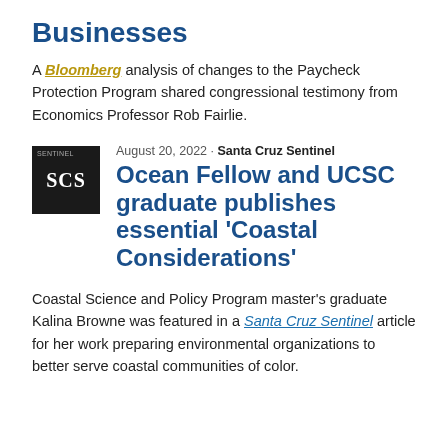Businesses
A Bloomberg analysis of changes to the Paycheck Protection Program shared congressional testimony from Economics Professor Rob Fairlie.
[Figure (logo): Santa Cruz Sentinel logo — black square with 'SCS' in white serif letters]
August 20, 2022 - Santa Cruz Sentinel
Ocean Fellow and UCSC graduate publishes essential 'Coastal Considerations'
Coastal Science and Policy Program master's graduate Kalina Browne was featured in a Santa Cruz Sentinel article for her work preparing environmental organizations to better serve coastal communities of color.